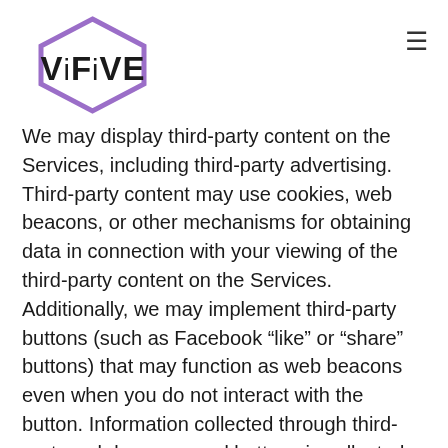[Figure (logo): ViFiVE logo: hexagon outline in purple with bold sans-serif text 'ViFiVE' inside]
We may display third-party content on the Services, including third-party advertising. Third-party content may use cookies, web beacons, or other mechanisms for obtaining data in connection with your viewing of the third-party content on the Services. Additionally, we may implement third-party buttons (such as Facebook “like” or “share” buttons) that may function as web beacons even when you do not interact with the button. Information collected through third-party web beacons and buttons is collected directly